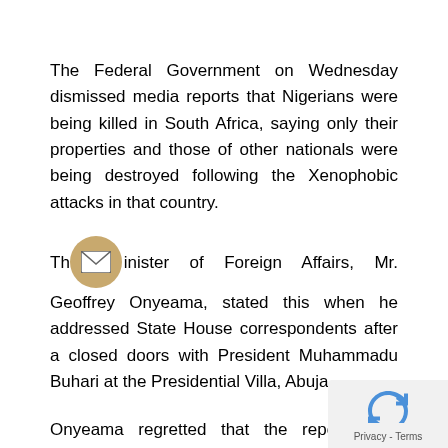The Federal Government on Wednesday dismissed media reports that Nigerians were being killed in South Africa, saying only their properties and those of other nationals were being destroyed following the Xenophobic attacks in that country.
The Minister of Foreign Affairs, Mr. Geoffrey Onyeama, stated this when he addressed State House correspondents after a closed doors with President Muhammadu Buhari at the Presidential Villa, Abuja.
Onyeama regretted that the reports had distorted the situation and impacted on the federal government response on the incident.